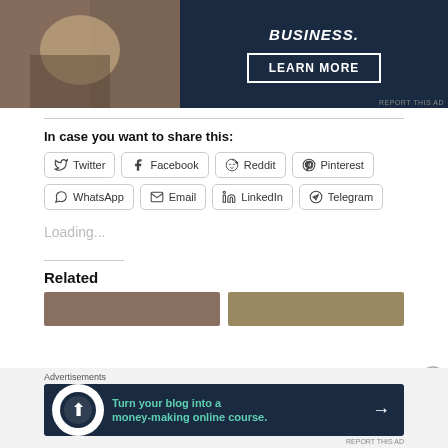[Figure (photo): Advertisement banner showing a person holding something with 'BUSINESS.' text and a LEARN MORE button on dark navy background]
In case you want to share this:
Twitter | Facebook | Reddit | Pinterest | WhatsApp | Email | LinkedIn | Telegram
Loading...
Related
[Figure (photo): Two related article thumbnail images]
[Figure (photo): Advertisement banner: Turn your blog into a money-making online course.]